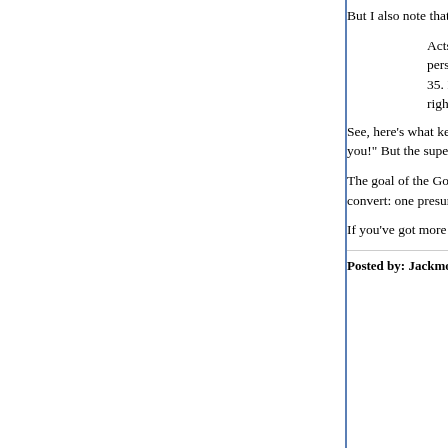But I also note that Peter is written as replying to of conversion thus:
Acts 10: 34. Of a truth I perceive that God persons. 35. But in every nation he that feareth him. righteousness, is accepted with him.
See, here's what keeps bringing me back to the B faith. Peter's first line is funny. It's a subtle jab: "w commendable faith from you!" But the super-cool take the Roman soldier at his word, despite all the
The goal of the Gospels is to bring everyone--any involves repentence. It's telling, though, that the c so far here are Romans who convert: one presum repentence will involve being less hostile to the lo represented by Christ.
If you've got more Biblical Christian soldiers you'c If you're sick of the discussion, I'll fade away.
Posted by: Jackmormon | February 25, 2005 at 01:02 AM